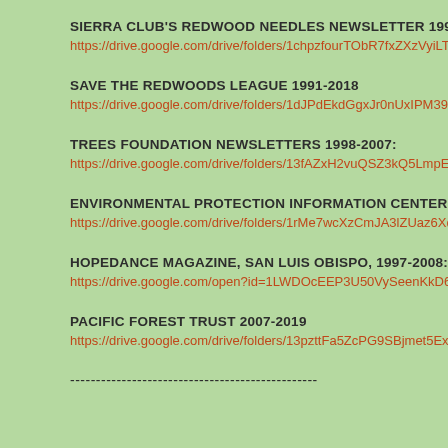SIERRA CLUB'S REDWOOD NEEDLES NEWSLETTER 1996-200
https://drive.google.com/drive/folders/1chpzfourTObR7fxZXzVyiLTb
SAVE THE REDWOODS LEAGUE 1991-2018
https://drive.google.com/drive/folders/1dJPdEkdGgxJr0nUxIPM39Y0
TREES FOUNDATION NEWSLETTERS 1998-2007:
https://drive.google.com/drive/folders/13fAZxH2vuQSZ3kQ5LmpEY
ENVIRONMENTAL PROTECTION INFORMATION CENTER, 199
https://drive.google.com/drive/folders/1rMe7wcXzCmJA3lZUaz6Xdj
HOPEDANCE MAGAZINE, SAN LUIS OBISPO, 1997-2008:
https://drive.google.com/open?id=1LWDOcEEP3U50VySeenKkD64x
PACIFIC FOREST TRUST 2007-2019
https://drive.google.com/drive/folders/13pzttFa5ZcPG9SBjmet5Ex2X
------------------------------------------------